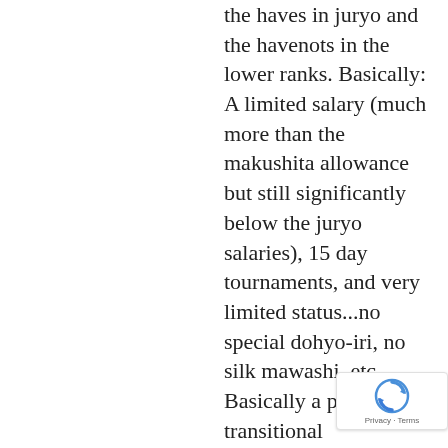the haves in juryo and the havenots in the lower ranks. Basically: A limited salary (much more than the makushita allowance but still significantly below the juryo salaries), 15 day tournaments, and very limited status...no special dohyo-iri, no silk mawashi, etc. Basically a pr... transitional
[Figure (other): Google reCAPTCHA badge with spinning arrows icon and 'Privacy - Terms' text]